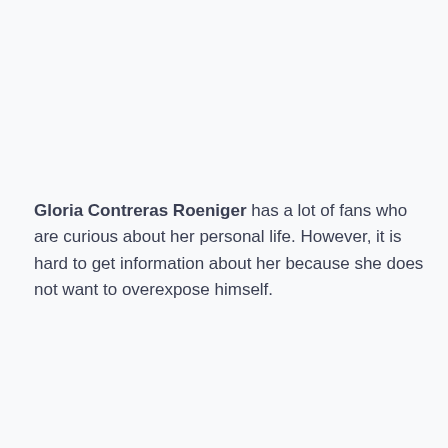Gloria Contreras Roeniger has a lot of fans who are curious about her personal life. However, it is hard to get information about her because she does not want to overexpose himself.